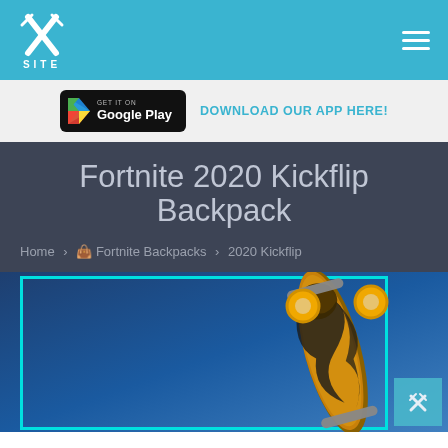XSITE — navigation header with logo and hamburger menu
GET IT ON Google Play — DOWNLOAD OUR APP HERE!
Fortnite 2020 Kickflip Backpack
Home › 🎒 Fortnite Backpacks › 2020 Kickflip
[Figure (photo): Fortnite 2020 Kickflip Backpack product image — a golden and black skateboard held upright against a blue background, inside a cyan-bordered frame]